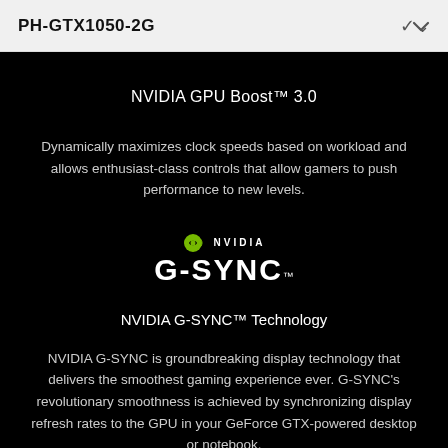PH-GTX1050-2G
NVIDIA GPU Boost™ 3.0
Dynamically maximizes clock speeds based on workload and allows enthusiast-class controls that allow gamers to push performance to new levels.
[Figure (logo): NVIDIA G-SYNC logo with NVIDIA eye icon and text]
NVIDIA G-SYNC™ Technology
NVIDIA G-SYNC is groundbreaking display technology that delivers the smoothest gaming experience ever. G-SYNC's revolutionary smoothness is achieved by synchronizing display refresh rates to the GPU in your GeForce GTX-powered desktop or notebook,